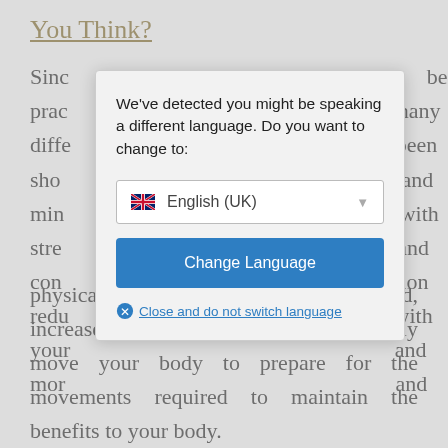You Think?
Since [obscured by modal] been prac [obscured] many diffe [obscured] been sho [obscured] and min [obscured] with stre [obscured] and con [obscured] sion redu [obscured] with your [obscured] and mor [obscured] and physically by helping you focus your mind, increase your awareness and reactively move your body to prepare for the movements required to maintain the benefits to your body.
[Figure (screenshot): A modal dialog overlay on a webpage. The modal contains the text 'We've detected you might be speaking a different language. Do you want to change to:' with a dropdown showing English (UK) with a UK flag icon, a blue 'Change Language' button, and a 'Close and do not switch language' link with an X icon.]